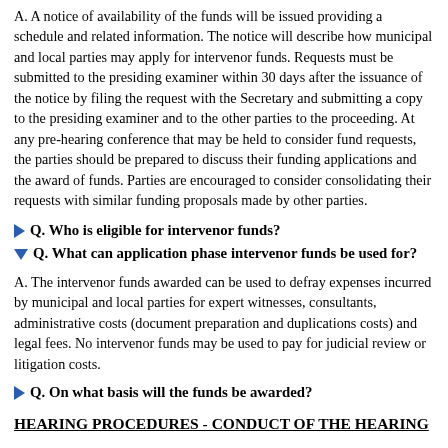A. A notice of availability of the funds will be issued providing a schedule and related information. The notice will describe how municipal and local parties may apply for intervenor funds. Requests must be submitted to the presiding examiner within 30 days after the issuance of the notice by filing the request with the Secretary and submitting a copy to the presiding examiner and to the other parties to the proceeding. At any pre-hearing conference that may be held to consider fund requests, the parties should be prepared to discuss their funding applications and the award of funds. Parties are encouraged to consider consolidating their requests with similar funding proposals made by other parties.
Q. Who is eligible for intervenor funds?
Q. What can application phase intervenor funds be used for?
A. The intervenor funds awarded can be used to defray expenses incurred by municipal and local parties for expert witnesses, consultants, administrative costs (document preparation and duplications costs) and legal fees. No intervenor funds may be used to pay for judicial review or litigation costs.
Q. On what basis will the funds be awarded?
HEARING PROCEDURES - CONDUCT OF THE HEARING